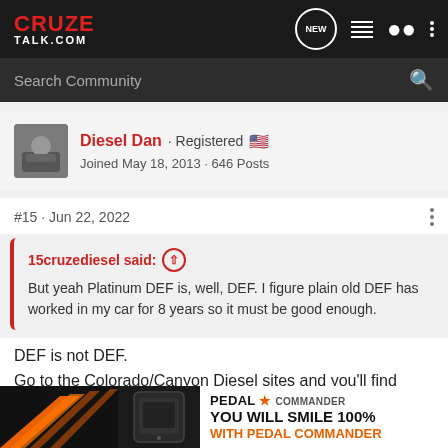CRUZE TALK.COM
Search Community
Diesel Dan · Registered
Joined May 18, 2013 · 646 Posts
#15 · Jun 22, 2022
15cruzediesel said:
But yeah Platinum DEF is, well, DEF. I figure plain old DEF has worked in my car for 8 years so it must be good enough.
DEF is not DEF.
Go to the Colorado/Canyon Diesel sites and you'll find plenty of people having issues with Platinum DEF. Our truck was one of them. W…tting poor qu…
[Figure (screenshot): Pedal Commander advertisement banner at bottom of page]